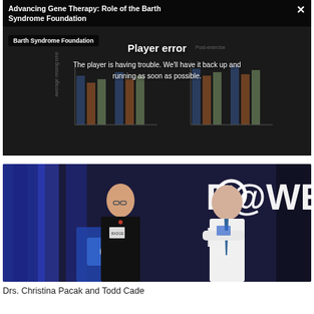[Figure (screenshot): Video player showing 'Advancing Gene Therapy: Role of the Barth Syndrome Foundation' with a player error message overlay reading 'Player error - The player is having trouble. We'll have it back up and running as soon as possible.' Background shows a bar chart slide from Barth Syndrome Foundation.]
[Figure (photo): Photo of two people standing on a stage in front of a large 'POWER' sign backdrop. A woman in a black top wearing a conference badge stands at a podium on the left, and a man in a white shirt and tie stands on the right with arms crossed.]
Drs. Christina Pacak and Todd Cade